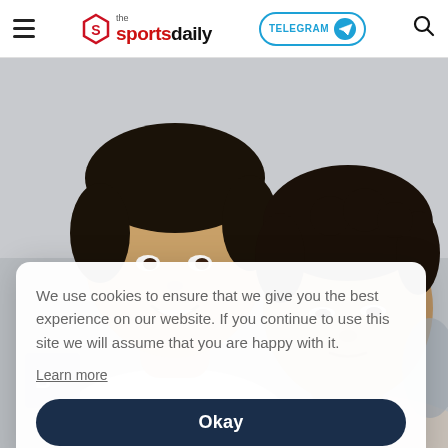the sportsdaily | TELEGRAM | Search
[Figure (photo): Two young men taking a selfie, one on left smiling, one on right with curly hair, informal setting]
We use cookies to ensure that we give you the best experience on our website. If you continue to use this site we will assume that you are happy with it.
Learn more
Okay